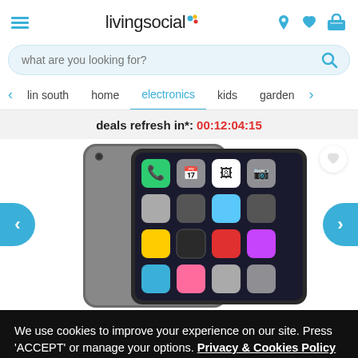[Figure (screenshot): LivingSocial website header with hamburger menu icon on left, livingsocial logo in center, and location/heart/cart icons on right]
[Figure (screenshot): Search bar with placeholder text 'what are you looking for?' and search icon on right]
[Figure (screenshot): Navigation bar with categories: lin south, home, electronics (active/selected), kids, garden, with left and right arrows]
deals refresh in*: 00:12:04:15
[Figure (photo): Apple iPad with dark space gray aluminum back showing a front-facing view of the device displaying iOS home screen with app icons on a dark background]
We use cookies to improve your experience on our site. Press 'ACCEPT' or manage your options. Privacy & Cookies Policy
Options
ACCEPT